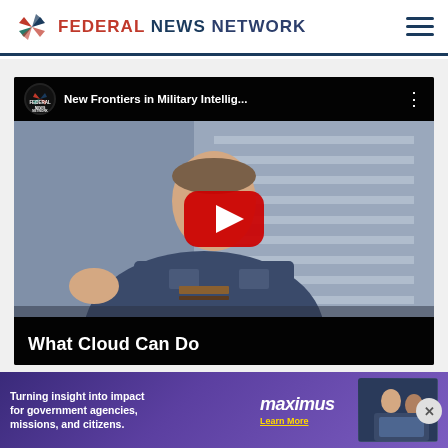FEDERAL NEWS NETWORK
[Figure (screenshot): YouTube video thumbnail embedded in Federal News Network page, showing a military officer in uniform with title 'New Frontiers in Military Intellig...' and a red play button overlay]
What Cloud Can Do
[Figure (screenshot): Advertisement banner for Maximus: 'Turning insight into impact for government agencies, missions, and citizens. maximus Learn More']